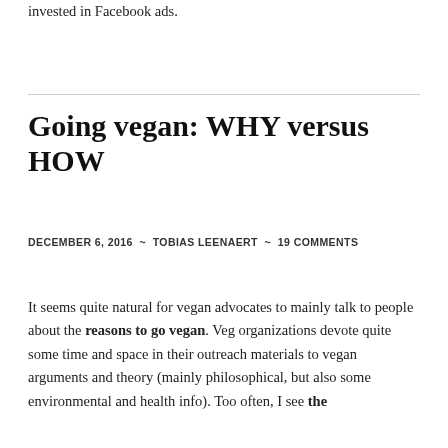invested in Facebook ads.
Going vegan: WHY versus HOW
DECEMBER 6, 2016 ~ TOBIAS LEENAERT ~ 19 COMMENTS
It seems quite natural for vegan advocates to mainly talk to people about the reasons to go vegan. Veg organizations devote quite some time and space in their outreach materials to vegan arguments and theory (mainly philosophical, but also some environmental and health info). Too often, I see the